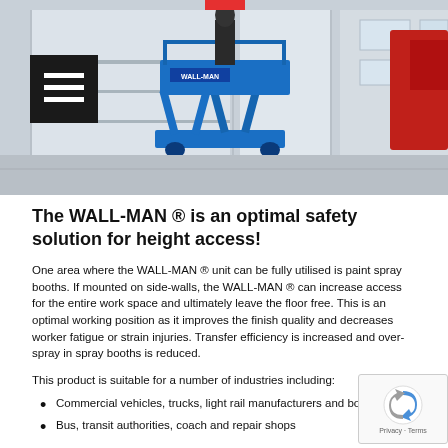[Figure (photo): Photo of a blue WALL-MAN scissor lift unit mounted in a paint spray booth with white walls and a person working. A hamburger menu icon is visible in the top-left corner of the image.]
The WALL-MAN ® is an optimal safety solution for height access!
One area where the WALL-MAN ® unit can be fully utilised is paint spray booths. If mounted on side-walls, the WALL-MAN ® can increase access for the entire work space and ultimately leave the floor free. This is an optimal working position as it improves the finish quality and decreases worker fatigue or strain injuries. Transfer efficiency is increased and over-spray in spray booths is reduced.
This product is suitable for a number of industries including:
Commercial vehicles, trucks, light rail manufacturers and body shops
Bus, transit authorities, coach and repair shops